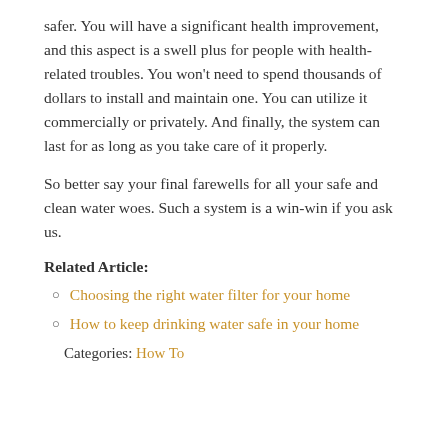safer. You will have a significant health improvement, and this aspect is a swell plus for people with health-related troubles. You won't need to spend thousands of dollars to install and maintain one. You can utilize it commercially or privately. And finally, the system can last for as long as you take care of it properly.
So better say your final farewells for all your safe and clean water woes. Such a system is a win-win if you ask us.
Related Article:
Choosing the right water filter for your home
How to keep drinking water safe in your home
Categories: How To